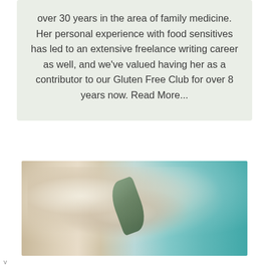over 30 years in the area of family medicine. Her personal experience with food sensitives has led to an extensive freelance writing career as well, and we've valued having her as a contributor to our Gluten Free Club for over 8 years now. Read More...
[Figure (photo): Close-up photo of a creamy white food dish (possibly a pasta or salad) with visible chunks, served on a teal/turquoise plate or surface, with a green leafy herb garnish visible.]